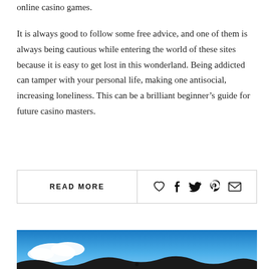online casino games.
It is always good to follow some free advice, and one of them is always being cautious while entering the world of these sites because it is easy to get lost in this wonderland. Being addicted can tamper with your personal life, making one antisocial, increasing loneliness. This can be a brilliant beginner’s guide for future casino masters.
READ MORE
[Figure (photo): Landscape photo showing a blue sky with white clouds and dark hills/mountains silhouetted at the bottom]